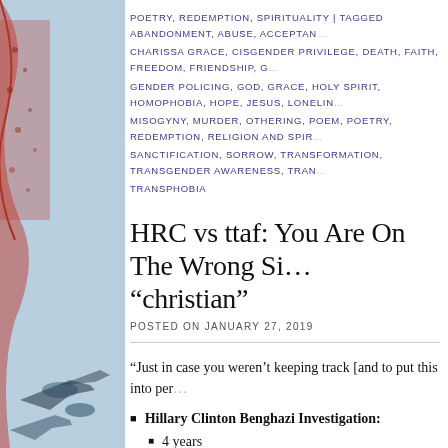POETRY, REDEMPTION, SPIRITUALITY | TAGGED ABANDONMENT, ABUSE, ACCEPTAN...
CHARISSA GRACE, CISGENDER PRIVILEGE, DEATH, FAITH, FREEDOM, FRIENDSHIP, G...
GENDER POLICING, GOD, GRACE, HOLY SPIRIT, HOMOPHOBIA, HOPE, JESUS, LONELIN...
MISOGYNY, MURDER, OTHERING, POEM, POETRY, REDEMPTION, RELIGION AND SPIR...
SANCTIFICATION, SORROW, TRANSFORMATION, TRANSGENDER AWARENESS, TRAN...
TRANSPHOBIA
HRC vs ttaf: You Are On The Wrong Si… "christian"
POSTED ON JANUARY 27, 2019
“Just in case you weren’t keeping track [and to put this into per…
Hillary Clinton Benghazi Investigation:
4 years
0 indictments